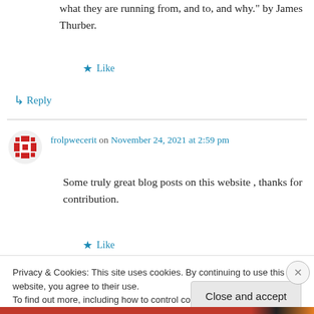what they are running from, and to, and why." by James Thurber.
★ Like
↳ Reply
frolpwecerit on November 24, 2021 at 2:59 pm
[Figure (illustration): Red and white decorative avatar icon with geometric snowflake-like pattern for user frolpwecerit]
Some truly great blog posts on this website , thanks for contribution.
★ Like
Privacy & Cookies: This site uses cookies. By continuing to use this website, you agree to their use. To find out more, including how to control cookies, see here: Cookie Policy
Close and accept